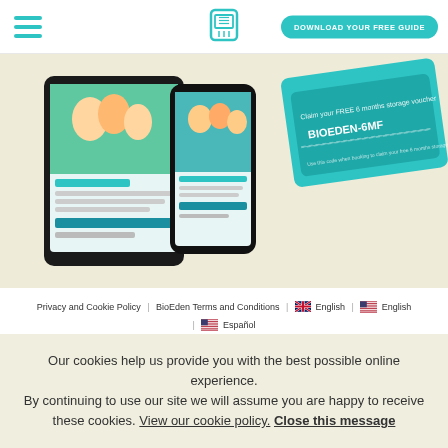DOWNLOAD YOUR FREE GUIDE
[Figure (screenshot): Hero image showing a tablet and smartphone displaying BioEden guide content, alongside a voucher card reading 'Claim your FREE 6 months storage voucher' with code BIOEDEN-6MF, on a beige/cream background.]
Privacy and Cookie Policy | BioEden Terms and Conditions | English | English | Español
Our cookies help us provide you with the best possible online experience. By continuing to use our site we will assume you are happy to receive these cookies. View our cookie policy. Close this message